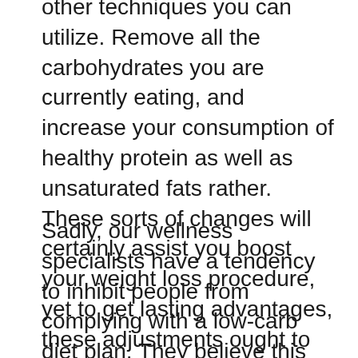other techniques you can utilize. Remove all the carbohydrates you are currently eating, and increase your consumption of healthy protein as well as unsaturated fats rather. These sorts of changes will certainly assist you boost your weight loss procedure, yet to get lasting advantages, these adjustments ought to be accompanied by normal physical activity.
Sadly, our wellness specialists have a tendency to inhibit people from complying with a low-carb diet plan. They believe this diet plan will advertise keto flu. This is since individuals who have keto influenza really feel weak, unsteady, exhausted, run-down, and usually not able to work appropriately in their lives.